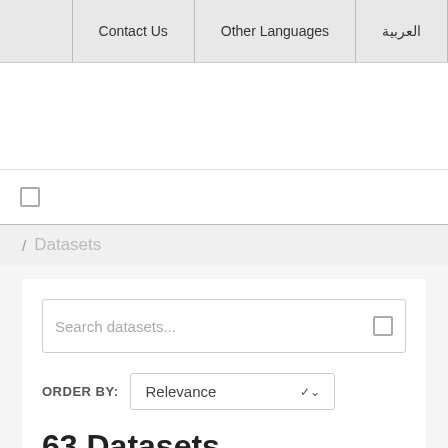Contact Us | Other Languages | العربية
/ Datasets
Search datasets...
ORDER BY: Relevance
63 Datasets